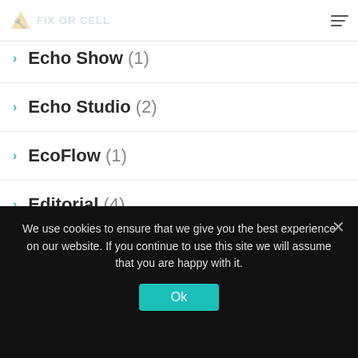FIX OR CELL
Echo (4)
Echo Show (1)
Echo Studio (2)
EcoFlow (1)
Editorial (4)
elon musk (1)
Entertainment (2)
Epic Games (1)
We use cookies to ensure that we give you the best experience on our website. If you continue to use this site we will assume that you are happy with it.